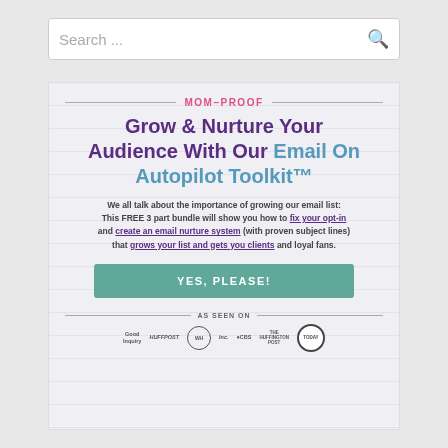[Figure (screenshot): Search bar with placeholder text 'Search ...' and a search icon on the right]
[Figure (infographic): Mom-Proof promotional card with headline 'Grow & Nurture Your Audience With Our Email On Autopilot Toolkit™', body text about FREE 3 part bundle, YES PLEASE button, AS SEEN ON logos row]